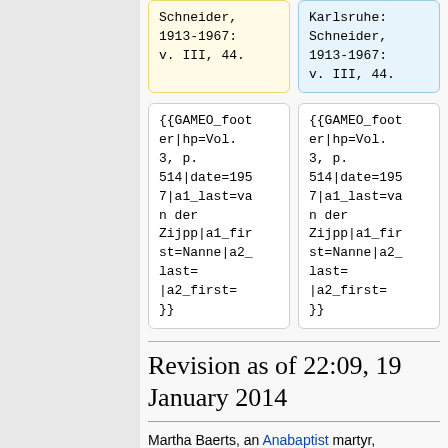Schneider, 1913-1967: v. III, 44.
Karlsruhe: Schneider, 1913-1967: v. III, 44.
{{GAMEO_footer|hp=Vol. 3, p. 514|date=1957|a1_last=van der Zijpp|a1_first=Nanne|a2_last= |a2_first= }}
{{GAMEO_footer|hp=Vol. 3, p. 514|date=1957|a1_last=van der Zijpp|a1_first=Nanne|a2_last= |a2_first= }}
Revision as of 22:09, 19 January 2014
Martha Baerts, an Anabaptist martyr,